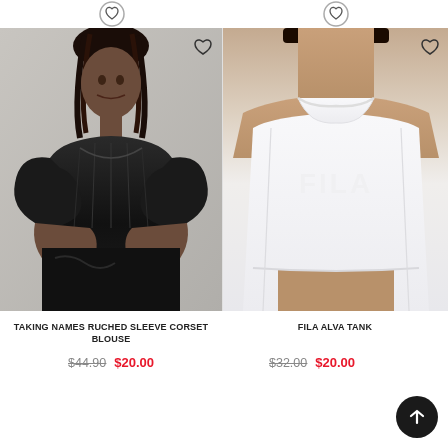[Figure (photo): Top navigation bar partial, showing circular wishlist/heart icon buttons at top]
[Figure (photo): Product photo: woman wearing black ruched sleeve corset blouse, gothic style, dark background]
TAKING NAMES RUCHED SLEEVE CORSET BLOUSE
$44.90  $20.00
[Figure (photo): Product photo: white FILA Alva Tank crop top, close-up showing FILA logo on chest]
FILA ALVA TANK
$32.00  $20.00